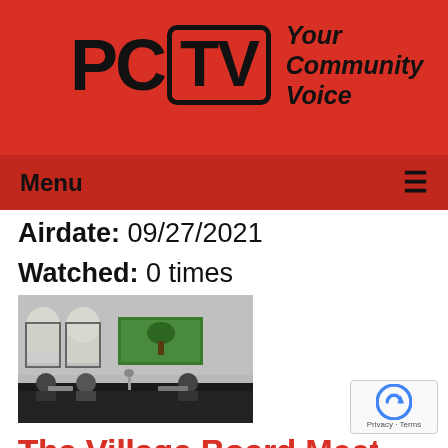PCTV — Your Community Voice
Menu
Airdate: 09/27/2021
Watched: 0 times
[Figure (photo): Black and white photo of a village board meeting room with arched windows, a green banner/sign, and officials seated at a long desk]
The Village Board Meeting of 09-27-2021